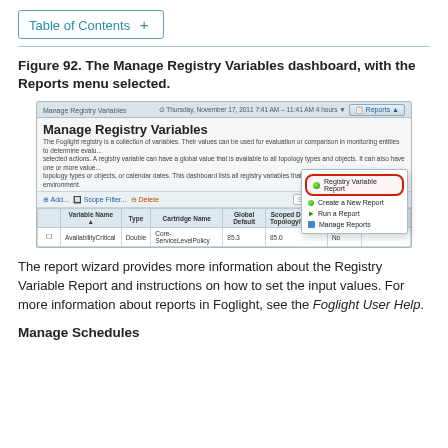Table of Contents +
Figure 92. The Manage Registry Variables dashboard, with the Reports menu selected.
[Figure (screenshot): Screenshot of the Manage Registry Variables dashboard showing the Reports dropdown menu with 'Registry Variable Report' highlighted in a red circle, plus options 'Create a New Report', 'Run a Report', and 'Manage Reports'. The table shows AvailabilityCritical variable with type Double, Cartridge Name Core-ServiceLevelPolicy, Global Default 85.3, Scoped Default 85.0, Sched. No.]
The report wizard provides more information about the Registry Variable Report and instructions on how to set the input values. For more information about reports in Foglight, see the Foglight User Help.
Manage Schedules